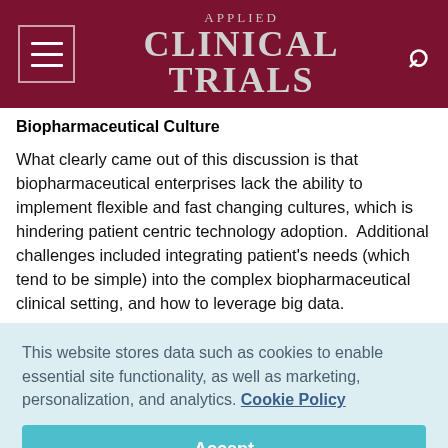Applied Clinical Trials
Biopharmaceutical Culture
What clearly came out of this discussion is that biopharmaceutical enterprises lack the ability to implement flexible and fast changing cultures, which is hindering patient centric technology adoption.  Additional challenges included integrating patient's needs (which tend to be simple) into the complex biopharmaceutical clinical setting, and how to leverage big data.
This website stores data such as cookies to enable essential site functionality, as well as marketing, personalization, and analytics. Cookie Policy
Accept
Deny